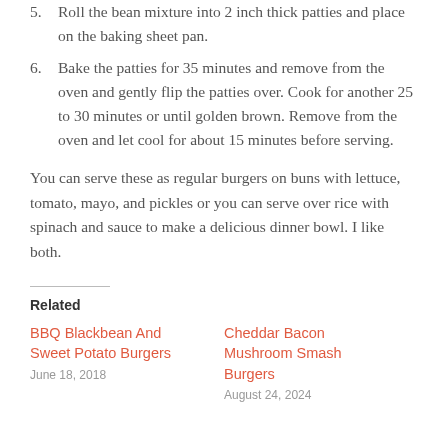5. Roll the bean mixture into 2 inch thick patties and place on the baking sheet pan.
6. Bake the patties for 35 minutes and remove from the oven and gently flip the patties over. Cook for another 25 to 30 minutes or until golden brown. Remove from the oven and let cool for about 15 minutes before serving.
You can serve these as regular burgers on buns with lettuce, tomato, mayo, and pickles or you can serve over rice with spinach and sauce to make a delicious dinner bowl. I like both.
Related
BBQ Blackbean And Sweet Potato Burgers
Cheddar Bacon Mushroom Smash Burgers